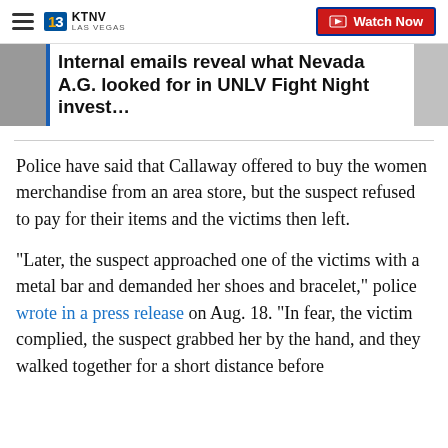KTNV LAS VEGAS — Watch Now
Internal emails reveal what Nevada A.G. looked for in UNLV Fight Night invest…
Police have said that Callaway offered to buy the women merchandise from an area store, but the suspect refused to pay for their items and the victims then left.
“Later, the suspect approached one of the victims with a metal bar and demanded her shoes and bracelet,” police wrote in a press release on Aug. 18. “In fear, the victim complied, the suspect grabbed her by the hand, and they walked together for a short distance before she would later escape.”